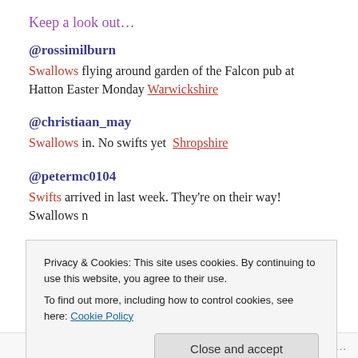Keep a look out…
@rossimilburn
Swallows flying around garden of the Falcon pub at Hatton Easter Monday Warwickshire
@christiaan_may
Swallows in. No swifts yet  Shropshire
@petermc0104
Swifts arrived in last week. They're on their way! Swallows n
Privacy & Cookies: This site uses cookies. By continuing to use this website, you agree to their use.
To find out more, including how to control cookies, see here: Cookie Policy
Follow …